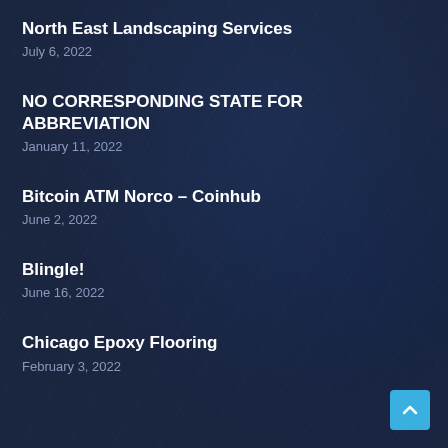North East Landscaping Services
July 6, 2022
NO CORRESPONDING STATE FOR ABBREVIATION
January 11, 2022
Bitcoin ATM Norco – Coinhub
June 2, 2022
Blingle!
June 16, 2022
Chicago Epoxy Flooring
February 3, 2022